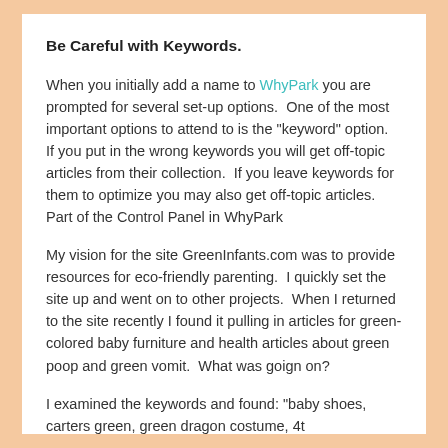Be Careful with Keywords.
When you initially add a name to WhyPark you are prompted for several set-up options.  One of the most important options to attend to is the "keyword" option.  If you put in the wrong keywords you will get off-topic articles from their collection.  If you leave keywords for them to optimize you may also get off-topic articles. Part of the Control Panel in WhyPark
My vision for the site GreenInfants.com was to provide resources for eco-friendly parenting.  I quickly set the site up and went on to other projects.  When I returned to the site recently I found it pulling in articles for green-colored baby furniture and health articles about green poop and green vomit.  What was goign on?
I examined the keywords and found: "baby shoes, carters green, green dragon costume, 4t